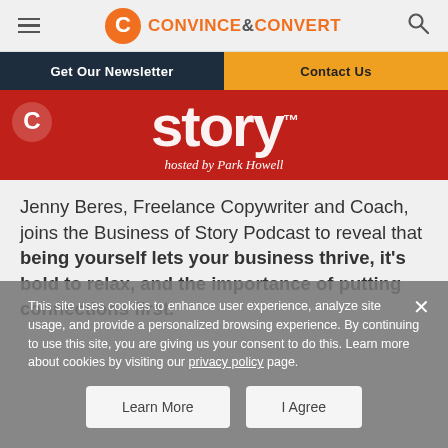Convince & Convert
Get Our Newsletter
Contact Us
[Figure (illustration): Business of Story podcast banner, hosted by Park Howell, red background with large text 'story' and C logo]
Jenny Beres, Freelance Copywriter and Coach, joins the Business of Story Podcast to reveal that being yourself lets your business thrive, it's bold to relax, and the importance of putting connections first.
This site uses cookies to enhance user experience, analyze site usage, and provide a personalized browsing experience. By continuing to use this site, you are giving us your consent to do this. Learn more about cookies by visiting our privacy policy page.